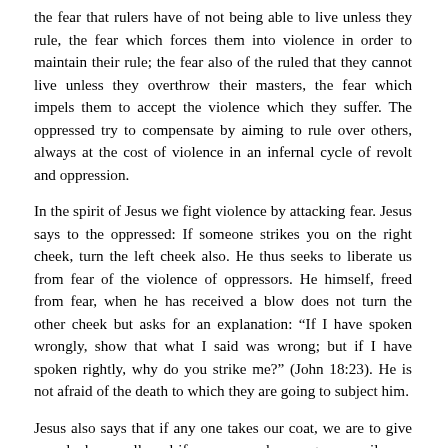the fear that rulers have of not being able to live unless they rule, the fear which forces them into violence in order to maintain their rule; the fear also of the ruled that they cannot live unless they overthrow their masters, the fear which impels them to accept the violence which they suffer. The oppressed try to compensate by aiming to rule over others, always at the cost of violence in an infernal cycle of revolt and oppression.
In the spirit of Jesus we fight violence by attacking fear. Jesus says to the oppressed: If someone strikes you on the right cheek, turn the left cheek also. He thus seeks to liberate us from fear of the violence of oppressors. He himself, freed from fear, when he has received a blow does not turn the other cheek but asks for an explanation: “If I have spoken wrongly, show that what I said was wrong; but if I have spoken rightly, why do you strike me?” (John 18:23). He is not afraid of the death to which they are going to subject him.
Jesus also says that if any one takes our coat, we are to give our cloak as well, and if any one makes us go one mile, we are to go two. He wants the oppressed to be freed from the fear of not being able to live without a master. They will then be able to do as he did, treating masters as hypocrites, as a brood of vipers, until they can